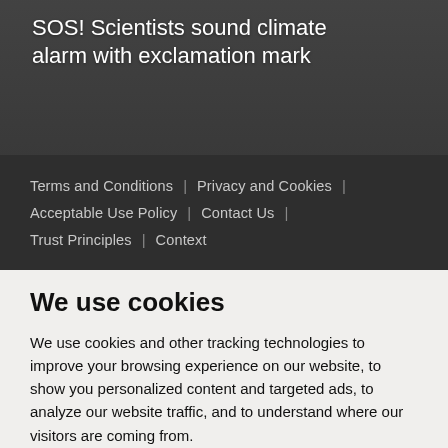[Figure (photo): Hero image of a person outdoors with dark overlay background]
SOS! Scientists sound climate alarm with exclamation mark
Terms and Conditions | Privacy and Cookies | Acceptable Use Policy | Contact Us | Trust Principles | Context
We use cookies
We use cookies and other tracking technologies to improve your browsing experience on our website, to show you personalized content and targeted ads, to analyze our website traffic, and to understand where our visitors are coming from.